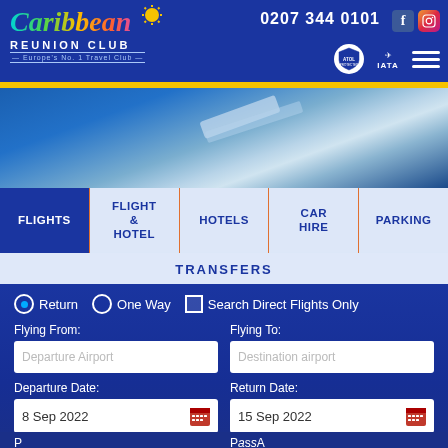Caribbean Reunion Club — Europe's No.1 Travel Club | 0207 344 0101
[Figure (screenshot): Travel booking website hero image showing ocean/beach scene with blurred background]
FLIGHTS
FLIGHT & HOTEL
HOTELS
CAR HIRE
PARKING
TRANSFERS
Return  One Way  Search Direct Flights Only
Flying From:
Departure Airport
Flying To:
Destination airport
Departure Date:
8 Sep 2022
Return Date:
15 Sep 2022